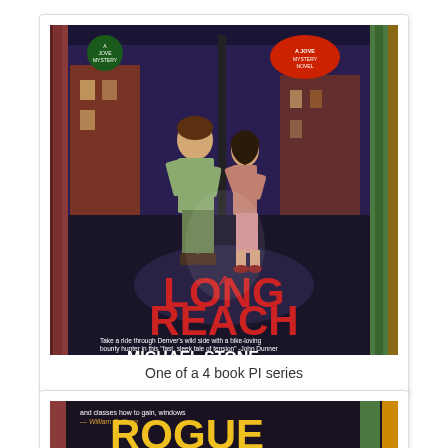[Figure (photo): Photograph of a paperback book titled 'A Long Reach' by Michael Stone, showing a noir-style cover with two figures embracing on a dark city street. The book is shown among other books. It is described as a Jove Mystery. Tagline reads 'Take a ride through Denver's wild side with a bike-loving bounty hunter in this fast, sleek tale of tension - John Dunner'. Author listed as Michael Stone, author of A Rondo of Readguns.]
One of a 4 book PI series
[Figure (photo): Partial photograph of another book cover showing large yellow letters 'ROGUE' visible at the bottom of the page, with other books in the background.]